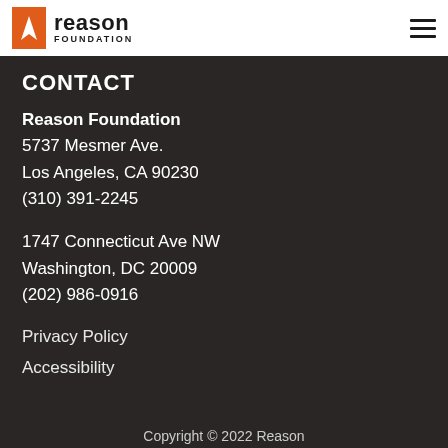Reason Foundation — logo and navigation
CONTACT
Reason Foundation
5737 Mesmer Ave.
Los Angeles, CA 90230
(310) 391-2245
1747 Connecticut Ave NW
Washington, DC 20009
(202) 986-0916
Privacy Policy
Accessibility
Copyright © 2022 Reason